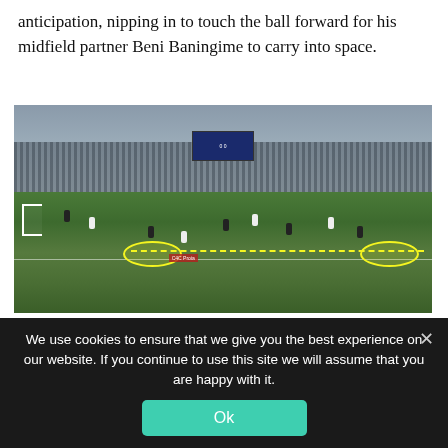anticipation, nipping in to touch the ball forward for his midfield partner Beni Baningime to carry into space.
[Figure (photo): Football match photograph showing players on a green pitch inside a stadium. Animated tactical overlay shows a dashed yellow arrow and highlighted ellipses indicating a passing movement, with a label reading 'C4C Proia'.]
We use cookies to ensure that we give you the best experience on our website. If you continue to use this site we will assume that you are happy with it.